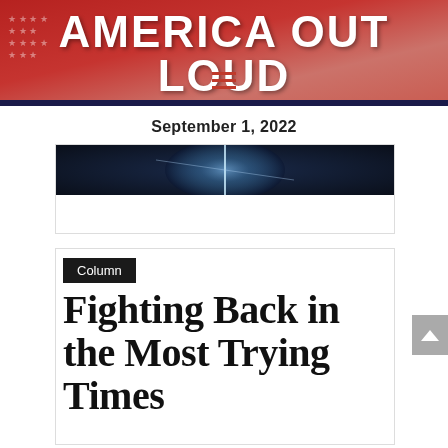AMERICA OUT LOUD
September 1, 2022
[Figure (photo): Dark atmospheric image with a bright light or beam, used as article thumbnail]
Column
Fighting Back in the Most Trying Times